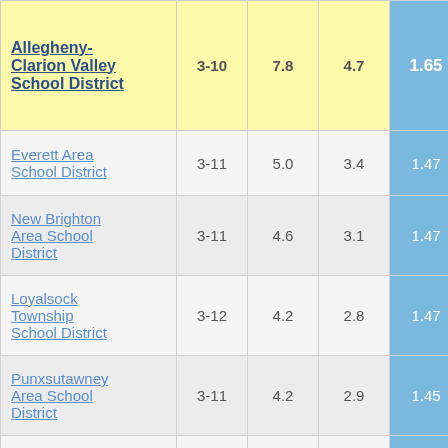| School District | Grades | Col3 | Col4 | Col5 | Col6 |
| --- | --- | --- | --- | --- | --- |
| Allegheny-Clarion Valley School District | 3-10 | 7.8 | 4.7 | 1.65 | 5 |
| Everett Area School District | 3-11 | 5.0 | 3.4 | 1.47 |  |
| New Brighton Area School District | 3-11 | 4.6 | 3.1 | 1.47 |  |
| Loyalsock Township School District | 3-12 | 4.2 | 2.8 | 1.47 |  |
| Punxsutawney Area School District | 3-11 | 4.2 | 2.9 | 1.45 |  |
| Towanda Area School District | 3-11 | 4.0 | 2.8 | 1.44 |  |
| Methacton School District | 3-11 | 2.5 | 1.7 | 1.43 |  |